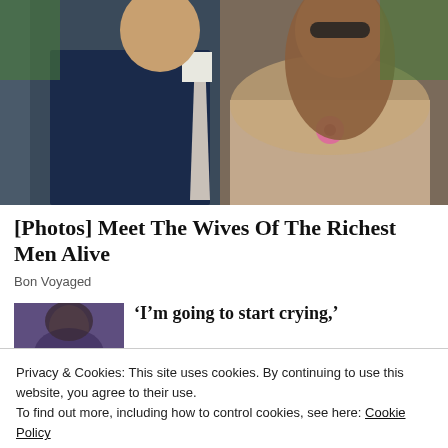[Figure (photo): A man in a dark navy suit with a light tie and a woman with long brown hair wearing a beige lace dress with a pink flower, seated at what appears to be an outdoor event (Wimbledon).]
[Photos] Meet The Wives Of The Richest Men Alive
Bon Voyaged
[Figure (photo): A woman with dark hair against a blue/purple background, thumbnail image.]
‘I’m going to start crying,’
Privacy & Cookies: This site uses cookies. By continuing to use this website, you agree to their use.
To find out more, including how to control cookies, see here: Cookie Policy
Close and accept
[Figure (photo): A woman with light hair, thumbnail image for another article.]
And This Is The House He